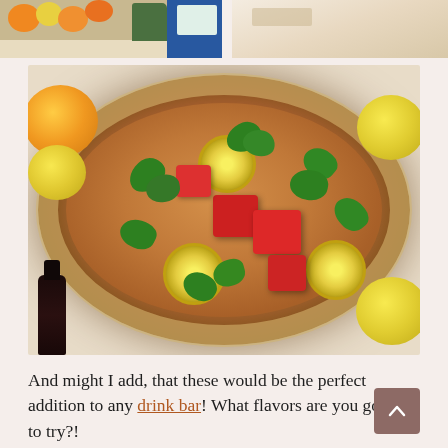[Figure (photo): Two partial photos at top: left shows fruit basket with oranges, lemons, and greens on a table with blue background; right shows a light beige/cream surface, partially visible.]
[Figure (photo): Overhead view of a large crystal punch bowl filled with orange-colored punch, garnished with lemon slices, fresh basil leaves, strawberry cubes, and ice. Surrounded by lemons, oranges, a dark bottle, and other drink ingredients.]
And might I add, that these would be the perfect addition to any drink bar! What flavors are you going to try?!